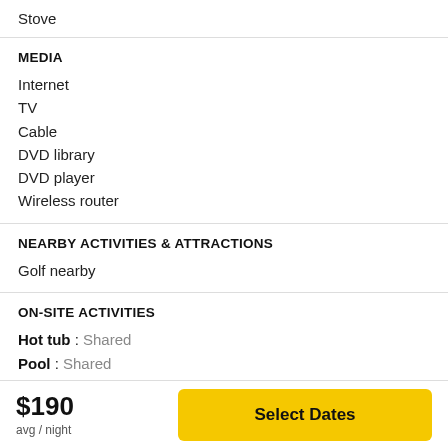Stove
MEDIA
Internet
TV
Cable
DVD library
DVD player
Wireless router
NEARBY ACTIVITIES & ATTRACTIONS
Golf nearby
ON-SITE ACTIVITIES
Hot tub : Shared
Pool : Shared
$190 avg / night
Select Dates